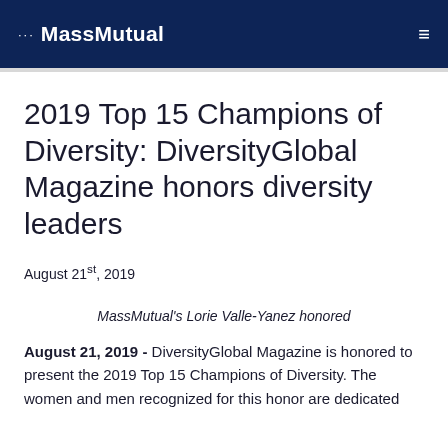MassMutual
2019 Top 15 Champions of Diversity: DiversityGlobal Magazine honors diversity leaders
August 21st, 2019
MassMutual's Lorie Valle-Yanez honored
August 21, 2019 - DiversityGlobal Magazine is honored to present the 2019 Top 15 Champions of Diversity. The women and men recognized for this honor are dedicated